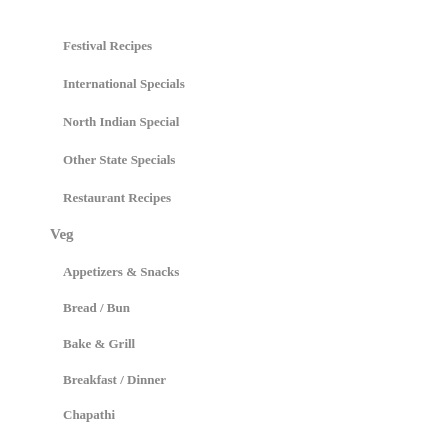Festival Recipes
International Specials
North Indian Special
Other State Specials
Restaurant Recipes
Veg
Appetizers & Snacks
Bread / Bun
Bake & Grill
Breakfast / Dinner
Chapathi
Condiments
Gravies & Curries